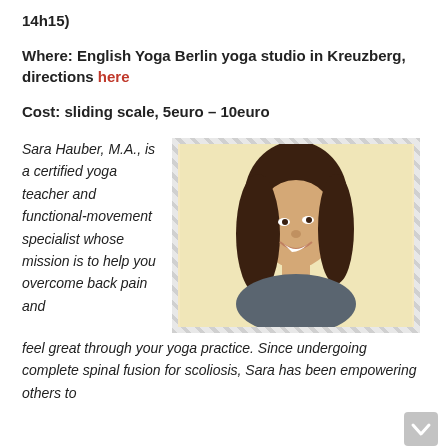14h15)
Where: English Yoga Berlin yoga studio in Kreuzberg, directions here
Cost: sliding scale, 5euro – 10euro
Sara Hauber, M.A., is a certified yoga teacher and functional-movement specialist whose mission is to help you overcome back pain and
[Figure (photo): Photo of Sara Hauber, smiling woman with long wavy brown hair, wearing a dark tank top, against a warm cream/yellow background]
feel great through your yoga practice. Since undergoing complete spinal fusion for scoliosis, Sara has been empowering others to